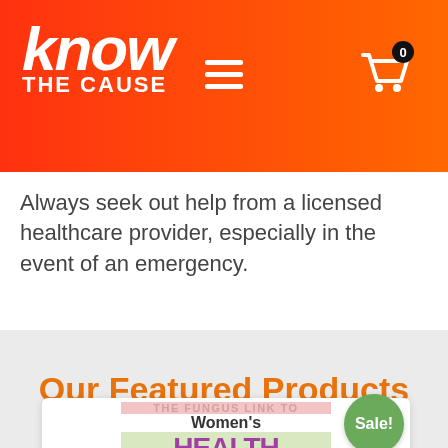know THE CAUSE
Always seek out help from a licensed healthcare provider, especially in the event of an emergency.
Our Featured Products
[Figure (illustration): Partial book cover showing 'THE FUNGUS LINK TO Women's HEALTH' with pink and green background bars, with a green Sale! badge in upper right corner]